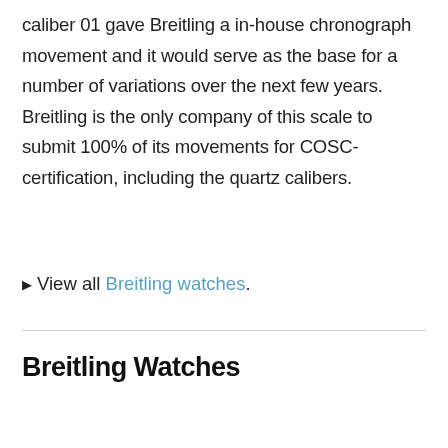caliber 01 gave Breitling a in-house chronograph movement and it would serve as the base for a number of variations over the next few years. Breitling is the only company of this scale to submit 100% of its movements for COSC-certification, including the quartz calibers.
▶ View all Breitling watches.
Breitling Watches